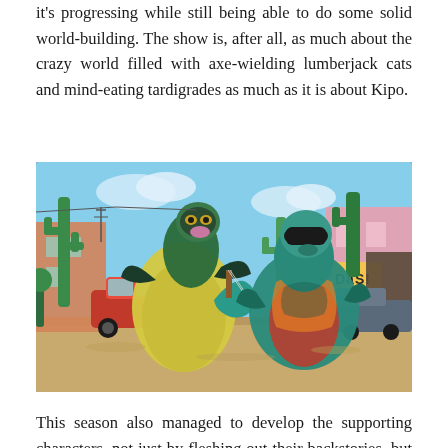it's progressing while still being able to do some solid world-building. The show is, after all, as much about the crazy world filled with axe-wielding lumberjack cats and mind-eating tardigrades as much as it is about Kipo.
[Figure (illustration): Animated scene from Kipo and the Age of Wonderbeasts showing two large snake-like mute characters in a colorful post-apocalyptic street setting with cacti, buildings, and a car. One character holds an electric guitar. Vibrant teal, yellow, orange, and red color scheme.]
This season also managed to develop the supporting characters, not just by fleshing out their backstories, but by having them grow emotionally. Benson